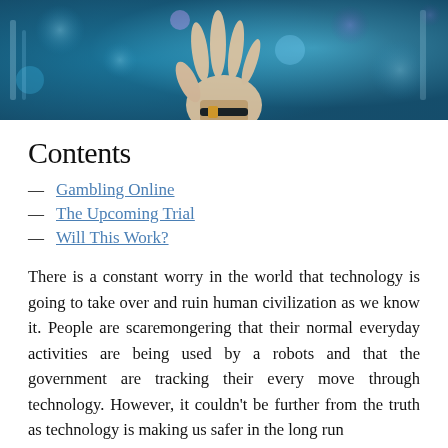[Figure (photo): A person's hand raised open against a blurred blue and purple bokeh background with lights, wearing a bracelet/wristband.]
Contents
— Gambling Online
— The Upcoming Trial
— Will This Work?
There is a constant worry in the world that technology is going to take over and ruin human civilization as we know it. People are scaremongering that their normal everyday activities are being used by a robots and that the government are tracking their every move through technology. However, it couldn't be further from the truth as technology is making us safer in the long run